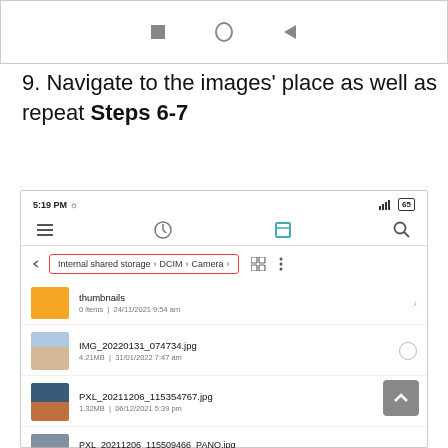[Figure (screenshot): Android navigation bar with stop, home, and back icons]
9. Navigate to the images' place as well as repeat Steps 6-7
[Figure (screenshot): Android file manager screenshot showing Internal shared storage > DCIM > Camera path with files: thumbnails folder, IMG_20220131_074734.jpg (4.21MB, 31/01/2022 7:47am), PXL_20211206_115354767.jpg (1.32MB, 06/12/2021 5:39 pm), and partial view of PXL_20211206_115509466_PANO.jpg]